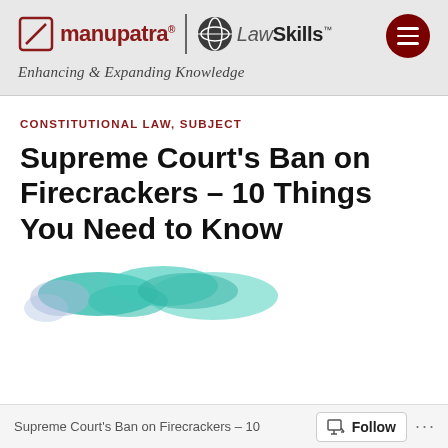manupatra® | LawSkills™ — Enhancing & Expanding Knowledge
CONSTITUTIONAL LAW, SUBJECT
Supreme Court's Ban on Firecrackers – 10 Things You Need to Know
[Figure (illustration): Abstract decorative wave/smoke illustration in teal and lavender colors]
Supreme Court's Ban on Firecrackers – 10   Follow   ...